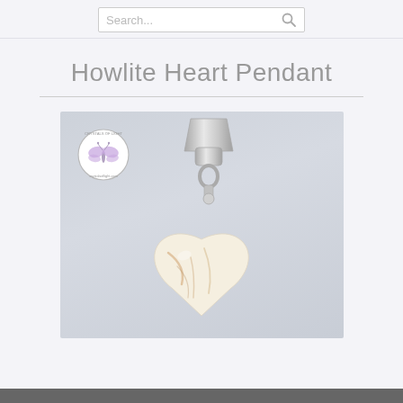Search bar area
Howlite Heart Pendant
[Figure (photo): Close-up photograph of a Howlite heart-shaped pendant with a silver bail/clasp on a light grey background. A circular logo stamp with a butterfly is visible in the upper left corner of the image.]